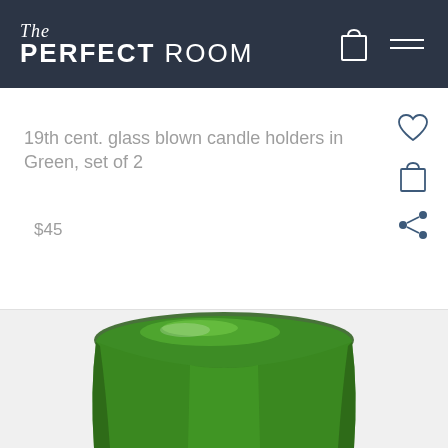The PERFECT ROOM
19th cent. glass blown candle holders in Green, set of 2
$45
[Figure (photo): Top portion of a green glass blown candle holder, showing the rounded green glass top against a white/light grey background]